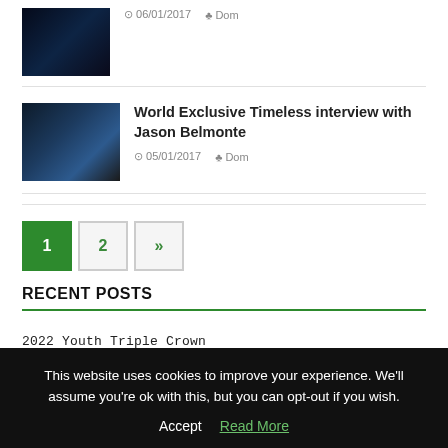[Figure (photo): Thumbnail image stub at top, dark blue/space themed]
06/01/2017  Dom
[Figure (photo): Thumbnail for World Exclusive Timeless interview with Jason Belmonte article, dark blue/globe image]
World Exclusive Timeless interview with Jason Belmonte
05/01/2017  Dom
1  2  »
RECENT POSTS
2022 Youth Triple Crown
Steven Taylor Junior wins The Valleys Open
This website uses cookies to improve your experience. We'll assume you're ok with this, but you can opt-out if you wish.
Accept  Read More